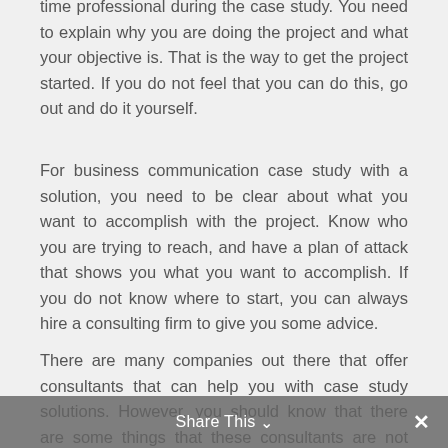time professional during the case study. You need to explain why you are doing the project and what your objective is. That is the way to get the project started. If you do not feel that you can do this, go out and do it yourself.
For business communication case study with a solution, you need to be clear about what you want to accomplish with the project. Know who you are trying to reach, and have a plan of attack that shows you what you want to accomplish. If you do not know where to start, you can always hire a consulting firm to give you some advice.
There are many companies out there that offer consultants that can help you with case study solutions. However, you should know that there are some things that these consultants are not able to do. You need to be self motivated and you need to choose to use what you have
Share This ∨  ✕